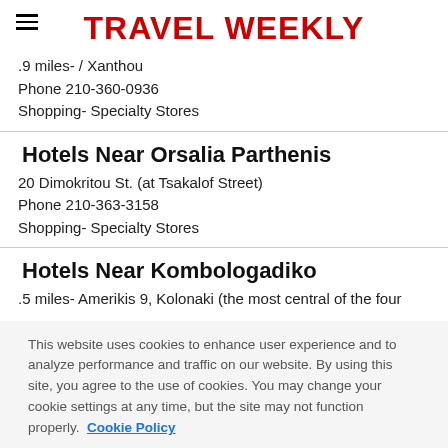TRAVEL WEEKLY
.9 miles- / Xanthou
Phone 210-360-0936
Shopping- Specialty Stores
Hotels Near Orsalia Parthenis
20 Dimokritou St. (at Tsakalof Street)
Phone 210-363-3158
Shopping- Specialty Stores
Hotels Near Kombologadiko
.5 miles- Amerikis 9, Kolonaki (the most central of the four
This website uses cookies to enhance user experience and to analyze performance and traffic on our website. By using this site, you agree to the use of cookies. You may change your cookie settings at any time, but the site may not function properly.  Cookie Policy